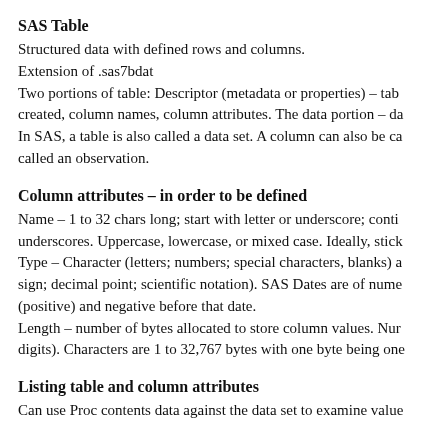SAS Table
Structured data with defined rows and columns.
Extension of .sas7bdat
Two portions of table: Descriptor (metadata or properties) – tab created, column names, column attributes. The data portion – da
In SAS, a table is also called a data set. A column can also be ca called an observation.
Column attributes – in order to be defined
Name – 1 to 32 chars long; start with letter or underscore; conti underscores. Uppercase, lowercase, or mixed case. Ideally, stick
Type – Character (letters; numbers; special characters, blanks) a sign; decimal point; scientific notation). SAS Dates are of nume (positive) and negative before that date.
Length – number of bytes allocated to store column values. Nur digits). Characters are 1 to 32,767 bytes with one byte being one
Listing table and column attributes
Can use Proc contents data against the data set to examine value